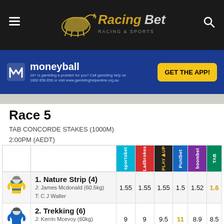[Figure (logo): RacingBet website header with hamburger menu, RacingBet logo in gold/silver, and search icon on dark background]
[Figure (infographic): Moneyball advertisement banner with blue background, moneyball logo, and yellow GET THE APP! button]
Race 5
TAB CONCORDE STAKES (1000M)
2:00PM (AEDT)
|  | Horse | Sportsbet | Ladbrokes | PlayUp | Puntbet | Boom | TAB |
| --- | --- | --- | --- | --- | --- | --- | --- |
| [silks] | 1. Nature Strip (4)
J: James Mcdonald (60.5kg)
T: C J Waller | 1.55 | 1.55 | 1.55 | 1.5 | 1.52 | 1.6 |
| [silks] | 2. Trekking (6)
J: Kerrin Mcevoy (60kg)
T: James Cummings | 9 | 9 | 9.5 | 11 | 8.9 | 8.5 |
| [silks] | 3. Wild Ruler (7) | 5 | 5 | 5 | 5.5 | 5.5 | 4.8 |